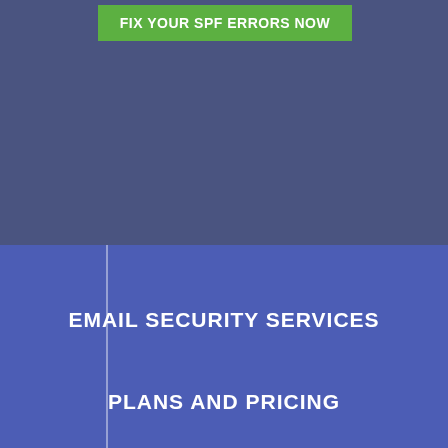[Figure (screenshot): Top banner with dark blue-gray background and a green call-to-action button labeled FIX YOUR SPF ERRORS NOW]
FIX YOUR SPF ERRORS NOW
EMAIL SECURITY SERVICES
PLANS AND PRICING
SPF RECORDS